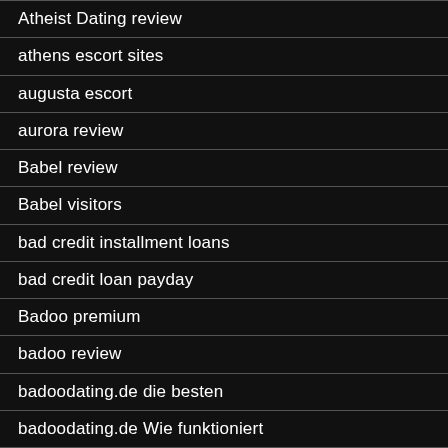Atheist Dating review
athens escort sites
augusta escort
aurora review
Babel review
Babel visitors
bad credit installment loans
bad credit loan payday
Badoo premium
badoo review
badoodating.de die besten
badoodating.de Wie funktioniert